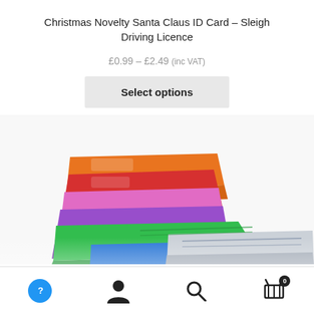Christmas Novelty Santa Claus ID Card – Sleigh Driving Licence
£0.99 – £2.49 (inc VAT)
Select options
[Figure (photo): Colorful plastic ID card holders in orange, red, pink, purple, green, blue, and silver/chrome colors, stacked and fanned out on a white background.]
Navigation bar with help button (circle with ?), user account icon, search icon, and shopping basket icon with badge showing 0